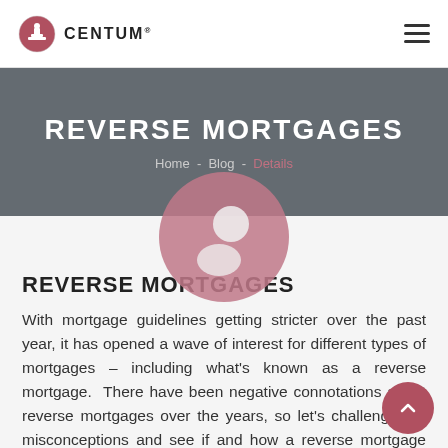CENTUM
REVERSE MORTGAGES
Home - Blog - Details
[Figure (illustration): Pink circle with a person silhouette icon]
REVERSE MORTGAGES
With mortgage guidelines getting stricter over the past year, it has opened a wave of interest for different types of mortgages – including what's known as a reverse mortgage.  There have been negative connotations about reverse mortgages over the years, so let's challenge the misconceptions and see if and how a reverse mortgage could benefit you.